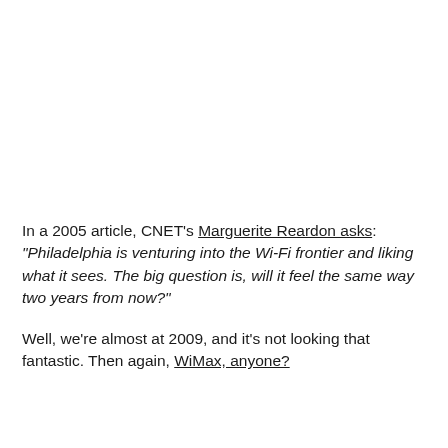In a 2005 article, CNET's Marguerite Reardon asks: "Philadelphia is venturing into the Wi-Fi frontier and liking what it sees. The big question is, will it feel the same way two years from now?"
Well, we're almost at 2009, and it's not looking that fantastic. Then again, WiMax, anyone?